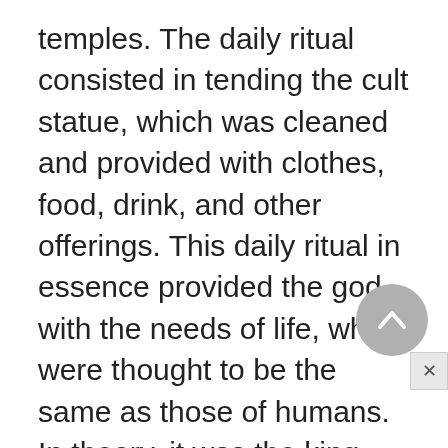temples. The daily ritual consisted in tending the cult statue, which was cleaned and provided with clothes, food, drink, and other offerings. This daily ritual in essence provided the god with the needs of life, which were thought to be the same as those of humans. In theory, it was the king who performed this daily ritual, because he was, in theory, the sole priest; for this reason, only the king is depicted in the wall decorations performing the appropriate actions. In fact, the daily